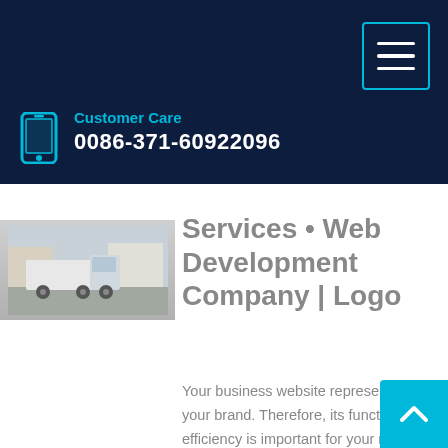Customer Care
0086-371-60922096
[Figure (photo): Small thumbnail photo of a white truck at a facility]
Services • Web Development Company | Logo
Your business website represents your brand. Therefore, its functional efficiency is important for your market reputation. Our web development services helps you to develop websites that comply with current industry standards, providing a seamless experience to your end-users.. Our web developers create high-performing websites using state-of-art website development practices.